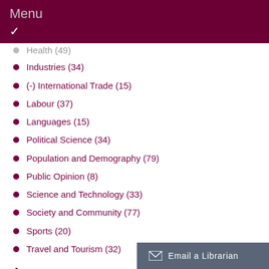Menu
Health (49)
Industries (34)
(-) International Trade (15)
Labour (37)
Languages (15)
Political Science (34)
Population and Demography (79)
Public Opinion (8)
Science and Technology (33)
Society and Community (77)
Sports (20)
Travel and Tourism (32)
Access
All Users (11)
McMaster Users (4)